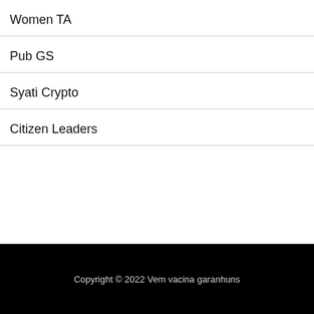Women TA
Pub GS
Syati Crypto
Citizen Leaders
Copyright © 2022 Vem vacina garanhuns